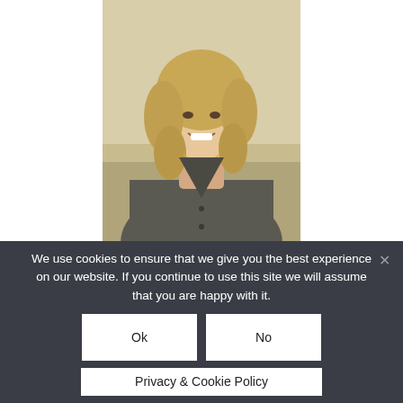[Figure (photo): Portrait photo of a smiling blonde woman wearing a grey cardigan and gold necklace, posed outdoors with a natural background.]
We use cookies to ensure that we give you the best experience on our website. If you continue to use this site we will assume that you are happy with it.
Ok
No
Privacy & Cookie Policy